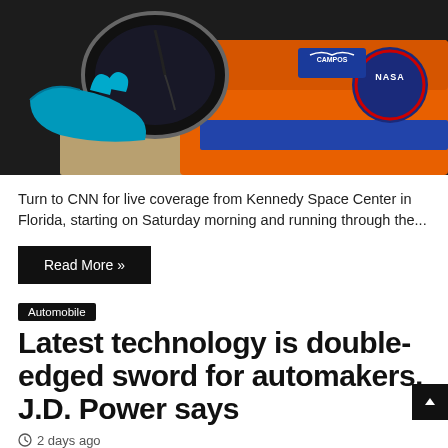[Figure (photo): Close-up photo of a person wearing blue latex gloves working on a space helmet visor, with an orange NASA spacesuit visible in the background showing a NASA patch and a 'CAMPOS' name badge.]
Turn to CNN for live coverage from Kennedy Space Center in Florida, starting on Saturday morning and running through the...
Read More »
Automobile
Latest technology is double-edged sword for automakers, J.D. Power says
2 days ago